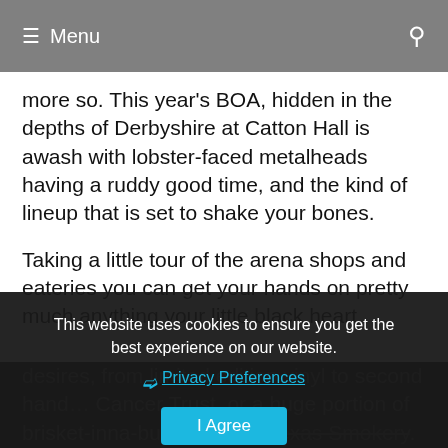≡ Menu
more so. This year's BOA, hidden in the depths of Derbyshire at Catton Hall is awash with lobster-faced metalheads having a ruddy good time, and the kind of lineup that is set to shake your bones.
Taking a little tour of the arena shops and eateries you can get your hands on pretty much anything your little black heart desires, from limited edition vinyl to second hand… Cancer Trust, or a huge portion of brisket-inna-bun from The Texas Smokery. People are whizzing around on fairground dodgems or being… into the air in a bungee cage with unrivalled glee. It's just a
This website uses cookies to ensure you get the best experience on our website.
Privacy Preferences
I Agree